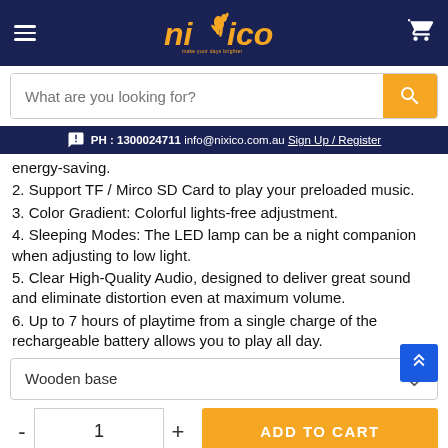Nixico - make your days brighter
What are you looking for?
PH : 1300024711 info@nixico.com.au Sign Up / Register
energy-saving.
2. Support TF / Mirco SD Card to play your preloaded music.
3. Color Gradient: Colorful lights-free adjustment.
4. Sleeping Modes: The LED lamp can be a night companion when adjusting to low light.
5. Clear High-Quality Audio, designed to deliver great sound and eliminate distortion even at maximum volume.
6. Up to 7 hours of playtime from a single charge of the rechargeable battery allows you to play all day.
Wooden base
ADD TO CART